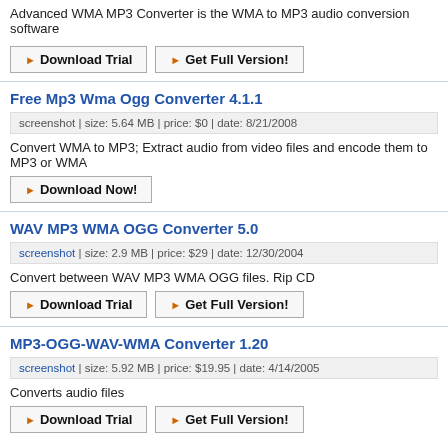Advanced WMA MP3 Converter is the WMA to MP3 audio conversion software
Download Trial | Get Full Version!
Free Mp3 Wma Ogg Converter 4.1.1
screenshot | size: 5.64 MB | price: $0 | date: 8/21/2008
Convert WMA to MP3; Extract audio from video files and encode them to MP3 or WMA
Download Now!
WAV MP3 WMA OGG Converter 5.0
screenshot | size: 2.9 MB | price: $29 | date: 12/30/2004
Convert between WAV MP3 WMA OGG files. Rip CD
Download Trial | Get Full Version!
MP3-OGG-WAV-WMA Converter 1.20
screenshot | size: 5.92 MB | price: $19.95 | date: 4/14/2005
Converts audio files
Download Trial | Get Full Version!